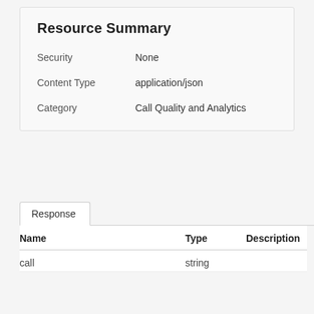Resource Summary
Security    None
Content Type    application/json
Category    Call Quality and Analytics
Response
| Name | Type | Description |
| --- | --- | --- |
| call | string |  |